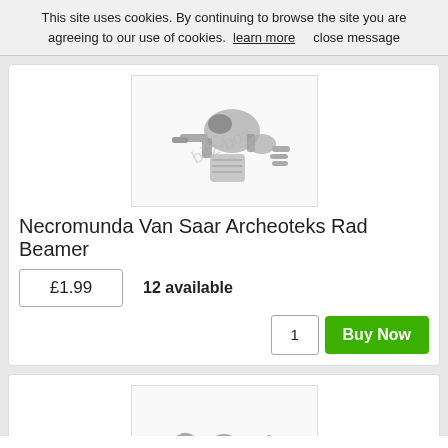This site uses cookies. By continuing to browse the site you are agreeing to our use of cookies.  learn more     close message
[Figure (photo): Photo of Necromunda Van Saar Archeoteks Rad Beamer miniature piece — silver metal robot/mechanical figure with watermark 'bitz-box']
Necromunda Van Saar Archeoteks Rad Beamer
£1.99    12 available
1   Buy Now
[Figure (photo): Photo of Necromunda Van Saar Archeoteks Spider Rig miniature piece — silver metal spider-like mechanical figure with watermark 'bitz-box']
Necromunda Van Saar Archeoteks Spider Ri...